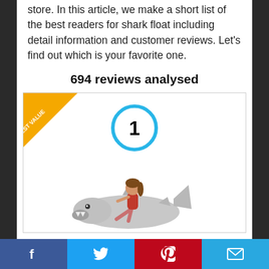store. In this article, we make a short list of the best readers for shark float including detail information and customer reviews. Let's find out which is your favorite one.
694 reviews analysed
[Figure (infographic): Product card with 'BEST VALUE' diagonal banner in top-left corner, a blue circle with number '1' in the center top, and a photo of a woman sitting on an inflatable shark float below.]
Facebook | Twitter | Pinterest | Email social share bar